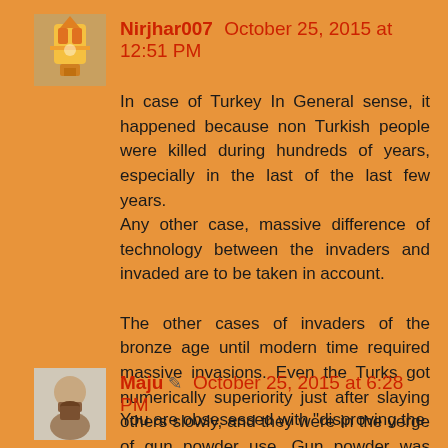[Figure (photo): Avatar image of user Nirjhar007, showing a colorful illustration]
Nirjhar007  October 25, 2015 at 12:51 PM
In case of Turkey In General sense, it happened because non Turkish people were killed during hundreds of years, especially in the last of the last few years.
Any other case, massive difference of technology between the invaders and invaded are to be taken in account.

The other cases of invaders of the bronze age until modern time required massive invasions. Even the Turks got numerically superiority just after slaying others slowly, and they were in the verge of gun powder use. Gun powder was used by the Mameluke against mongols in the XII century.
[Figure (photo): Avatar image of user Maju, showing a man with beard]
Maju  October 25, 2015 at 6:28 PM
You are obsesessed with "disproving the